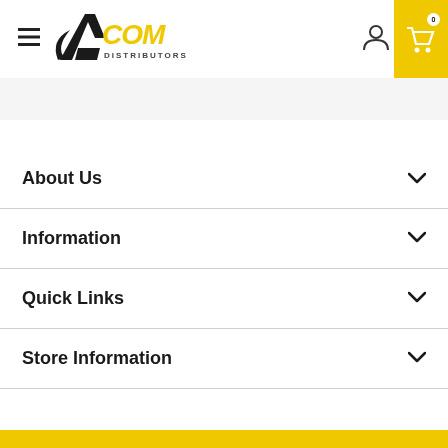ACOM DISTRIBUTORS — navigation header with hamburger menu, logo, user icon, and cart
About Us
Information
Quick Links
Store Information